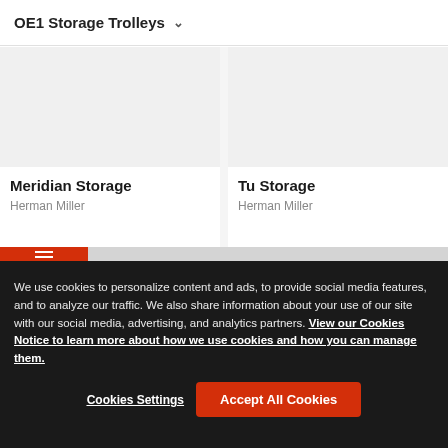OE1 Storage Trolleys ▾
[Figure (photo): Product image placeholder for Meridian Storage (gray rectangle)]
Meridian Storage
Herman Miller
[Figure (photo): Product image placeholder for Tu Storage (gray rectangle)]
Tu Storage
Herman Miller
We use cookies to personalize content and ads, to provide social media features, and to analyze our traffic. We also share information about your use of our site with our social media, advertising, and analytics partners. View our Cookies Notice to learn more about how we use cookies and how you can manage them.
Cookies Settings
Accept All Cookies